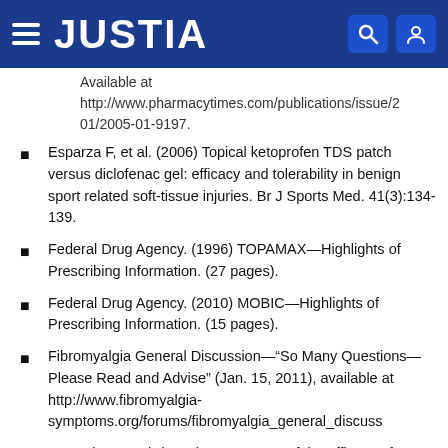JUSTIA
Available at http://www.pharmacytimes.com/publications/issue/2/01/2005-01-9197.
Esparza F, et al. (2006) Topical ketoprofen TDS patch versus diclofenac gel: efficacy and tolerability in benign sport related soft-tissue injuries. Br J Sports Med. 41(3):134-139.
Federal Drug Agency. (1996) TOPAMAX—Highlights of Prescribing Information. (27 pages).
Federal Drug Agency. (2010) MOBIC—Highlights of Prescribing Information. (15 pages).
Fibromyalgia General Discussion—“So Many Questions—Please Read and Advise” (Jan. 15, 2011), available at http://www.fibromyalgia-symptoms.org/forums/fibromyalgia_general_discuss
Fraczek M, et al. (2012) Assessment of the efficacy of topical anesthetics using the tactile spatial